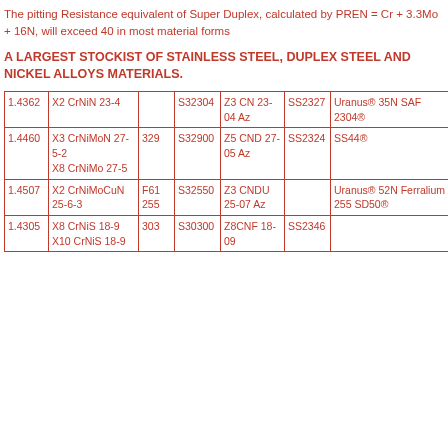The pitting Resistance equivalent of Super Duplex, calculated by PREN = Cr + 3.3Mo + 16N, will exceed 40 in most material forms
A LARGEST STOCKIST OF STAINLESS STEEL, DUPLEX STEEL AND NICKEL ALLOYS MATERIALS.
|  |  |  |  |  |  |  |
| --- | --- | --- | --- | --- | --- | --- |
| 1.4362 | X2 CrNiN 23-4 |  | S32304 | Z3 CN 23-04 Az | SS2327 | Uranus® 35N SAF 2304® |
| 1.4460 | X3 CrNiMoN 27-5-2
X8 CrNiMo 27-5 | 329 | S32900 | Z5 CND 27-05 Az | SS2324 | SS44® |
| 1.4507 | X2 CrNiMoCuN 25-6-3 | F61
255 | S32550 | Z3 CNDU 25-07 Az |  | Uranus® 52N
Ferralium 255 SD50® |
| 1.4305 | X8 CrNiS 18-9
X10 CrNiS 18-9 | 303 | S30300 | Z8CNF 18-09 | SS2346 |  |